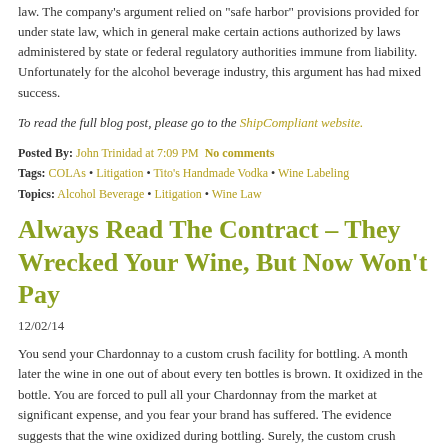law. The company's argument relied on "safe harbor" provisions provided for under state law, which in general make certain actions authorized by laws administered by state or federal regulatory authorities immune from liability. Unfortunately for the alcohol beverage industry, this argument has had mixed success.
To read the full blog post, please go to the ShipCompliant website.
Posted By: John Trinidad at 7:09 PM  No comments
Tags: COLAs • Litigation • Tito's Handmade Vodka • Wine Labeling
Topics: Alcohol Beverage • Litigation • Wine Law
Always Read The Contract – They Wrecked Your Wine, But Now Won't Pay
12/02/14
You send your Chardonnay to a custom crush facility for bottling. A month later the wine in one out of about every ten bottles is brown. It oxidized in the bottle. You are forced to pull all your Chardonnay from the market at significant expense, and you fear your brand has suffered. The evidence suggests that the wine oxidized during bottling. Surely, the custom crush facility will step up and compensate you for your damages? To the surprise of many vintners, the custom crush facility may escape much or all liability based upon language in its contract.
In California, as in most states, companies can dramatically limit their liability to commercial customers. Companies do this by including clauses in their contracts with customers that exclude liability for negligence, for lost profits,